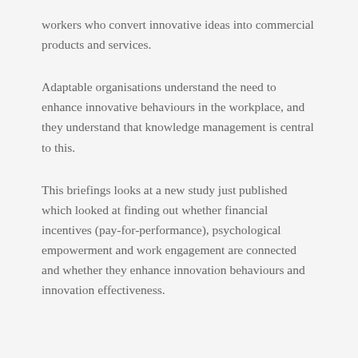workers who convert innovative ideas into commercial products and services.
Adaptable organisations understand the need to enhance innovative behaviours in the workplace, and they understand that knowledge management is central to this.
This briefings looks at a new study just published which looked at finding out whether financial incentives (pay-for-performance), psychological empowerment and work engagement are connected and whether they enhance innovation behaviours and innovation effectiveness.